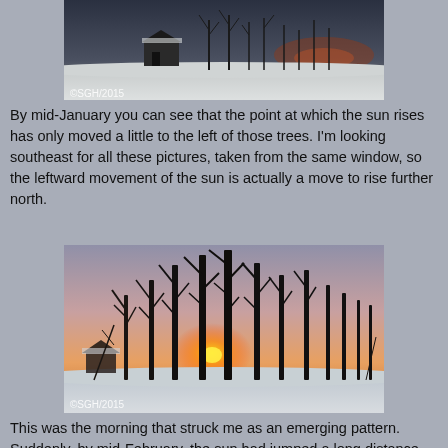[Figure (photo): Winter scene with snow-covered ground, bare trees, and a small building or barn in the background. Watermark reads ©SGH/2015.]
By mid-January you can see that the point at which the sun rises has only moved a little to the left of those trees.  I'm looking southeast for all these pictures, taken from the same window, so the leftward movement of the sun is actually a move to rise further north.
[Figure (photo): Winter sunrise scene with bare trees silhouetted against a pink and orange sky. Snow on the ground, a small structure visible at left. Watermark reads ©SGH/2015.]
This was the morning that struck me as an emerging pattern.  Suddenly, by mid-February, the sun had jumped a long distance, to rise just beside the Butternut tree.  And I know